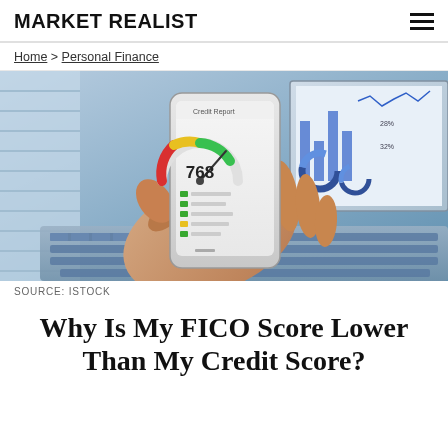MARKET REALIST
Home > Personal Finance
[Figure (photo): A hand holding a smartphone displaying a Credit Report app showing a credit score of 768 on a gauge meter, with a laptop keyboard and financial charts visible in the background.]
SOURCE: ISTOCK
Why Is My FICO Score Lower Than My Credit Score?